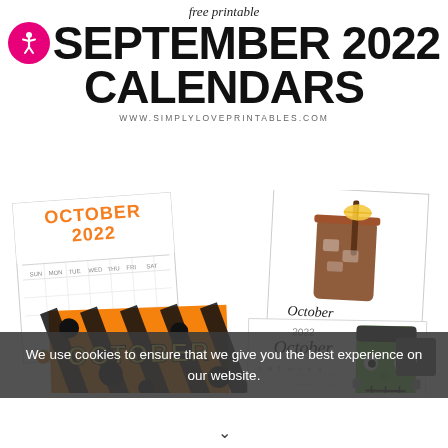free printable
SEPTEMBER 2022 CALENDARS
WWW.SIMPLYLOVEPRINTABLES.COM
[Figure (illustration): Multiple October 2022 calendar printable mockups fanned out: an orange-titled grid calendar, an iced coffee watercolor calendar, an orange and black polka-dot October card, and a Frankenstein mini calendar with a cartoon monster head.]
We use cookies to ensure that we give you the best experience on our website.